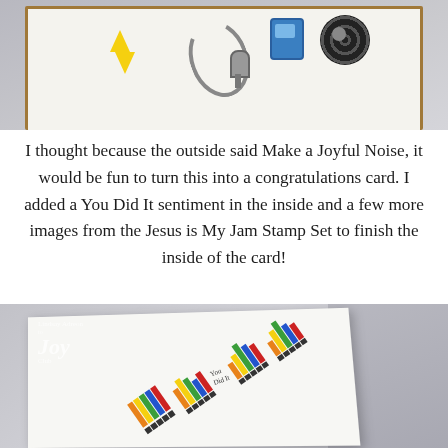[Figure (photo): Photo of the outside of a greeting card with music-themed stamps including lightning bolt, microphone, headphones, cassette/mp3 player, and vinyl record on a kraft paper background]
I thought because the outside said Make a Joyful Noise, it would be fun to turn this into a congratulations card. I added a You Did It sentiment in the inside and a few more images from the Jesus is My Jam Stamp Set to finish the inside of the card!
[Figure (photo): Photo of the inside of an open greeting card showing rainbow-colored bar-like stamp images arranged diagonally with a 'You Did It' sentiment, displayed on a gray background with the Lindsay Adreon Joy Club logo visible in the top left]